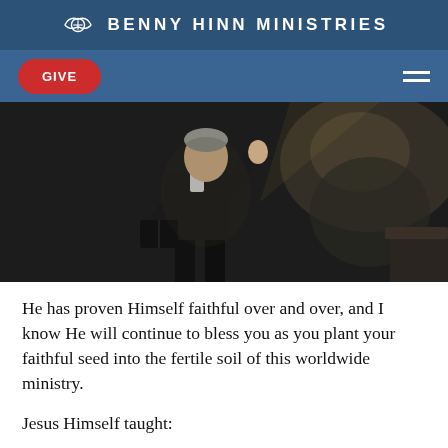BENNY HINN MINISTRIES
[Figure (photo): A man in a dark suit holding a Bible and gesturing with his right hand raised, appearing to preach on a stage with dramatic lighting and a blurred background.]
He has proven Himself faithful over and over, and I know He will continue to bless you as you plant your faithful seed into the fertile soil of this worldwide ministry.
Jesus Himself taught: